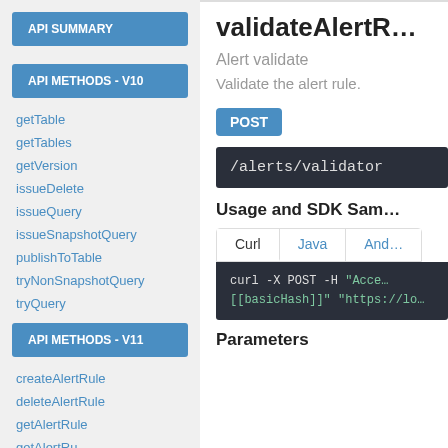API SUMMARY
API METHODS - V10
getTable
getTables
getVersion
issueDelete
issueQuery
issueSnapshotQuery
publishToTable
tryNonSnapshotQuery
tryQuery
API METHODS - V11
createAlertRule
deleteAlertRule
getAlertRule
validateAlertR…
Alert validate
Validate the alert rule.
POST
/alerts/validator
Usage and SDK Sam…
Curl  Java  And…
curl -X POST -H "Acce… [[basicHash]]" "https://lo…"